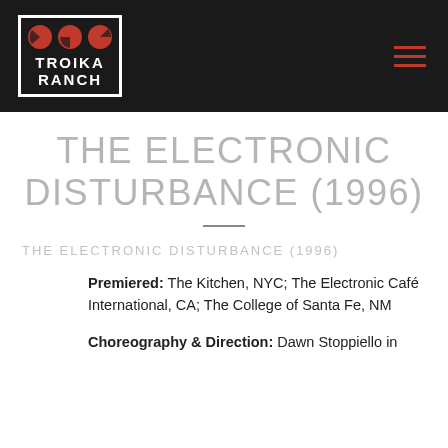[Figure (logo): Troika Ranch logo: three red circular icons above bold white text TROIKA RANCH on black background with white border]
THE ELECTRONIC DISTURBANCE (1996)
THE ELECTRONIC DISTURBANCE (1996)
Premiered: The Kitchen, NYC; The Electronic Café International, CA; The College of Santa Fe, NM
Choreography & Direction: Dawn Stoppiello in